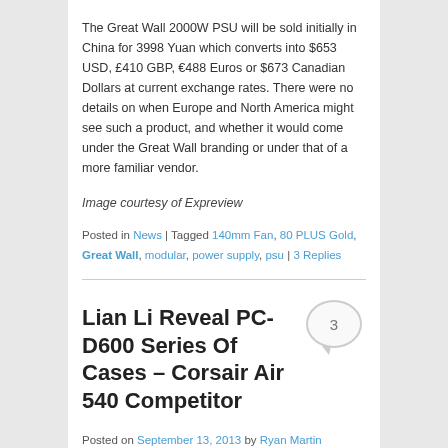The Great Wall 2000W PSU will be sold initially in China for 3998 Yuan which converts into $653 USD, £410 GBP, €488 Euros or $673 Canadian Dollars at current exchange rates. There were no details on when Europe and North America might see such a product, and whether it would come under the Great Wall branding or under that of a more familiar vendor.
Image courtesy of Expreview
Posted in News | Tagged 140mm Fan, 80 PLUS Gold, Great Wall, modular, power supply, psu | 3 Replies
Lian Li Reveal PC-D600 Series Of Cases – Corsair Air 540 Competitor
Posted on September 13, 2013 by Ryan Martin